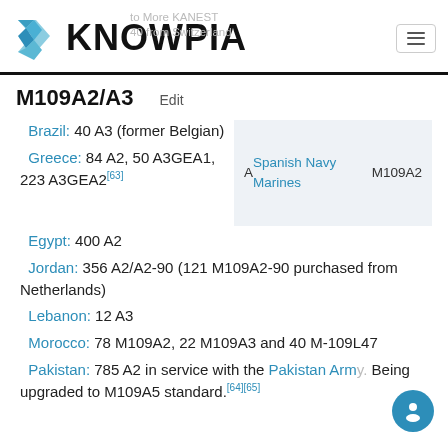KNOWPIA
M109A2/A3 Edit
Brazil: 40 A3 (former Belgian)
[Figure (photo): A Spanish Navy Marines M109A2]
Greece: 84 A2, 50 A3GEA1, 223 A3GEA2[63]
Egypt: 400 A2
Jordan: 356 A2/A2-90 (121 M109A2-90 purchased from Netherlands)
Lebanon: 12 A3
Morocco: 78 M109A2, 22 M109A3 and 40 M-109L47
Pakistan: 785 A2 in service with the Pakistan Army. Being upgraded to M109A5 standard.[64][65]